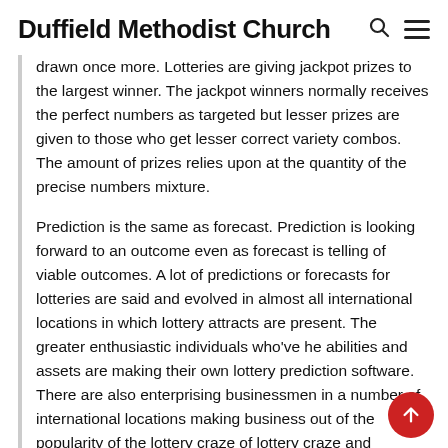Duffield Methodist Church
drawn once more. Lotteries are giving jackpot prizes to the largest winner. The jackpot winners normally receives the perfect numbers as targeted but lesser prizes are given to those who get lesser correct variety combos. The amount of prizes relies upon at the quantity of the precise numbers mixture.
Prediction is the same as forecast. Prediction is looking forward to an outcome even as forecast is telling of viable outcomes. A lot of predictions or forecasts for lotteries are said and evolved in almost all international locations in which lottery attracts are present. The greater enthusiastic individuals who've he abilities and assets are making their own lottery prediction software. There are also enterprising businessmen in a number of international locations making business out of the popularity of the lottery craze of lottery craze and